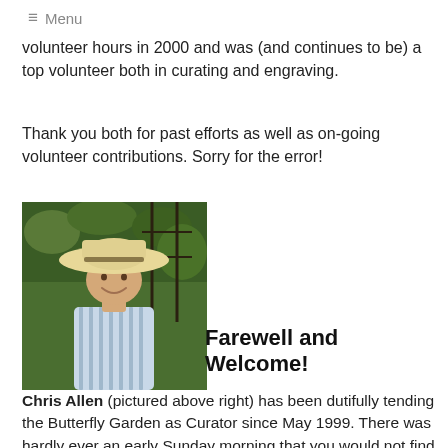≡ Menu
volunteer hours in 2000 and was (and continues to be) a top volunteer both in curating and engraving.
Thank you both for past efforts as well as on-going volunteer contributions. Sorry for the error!
[Figure (photo): Photo of Chris Allen wearing a wide-brimmed hat, smiling, in front of a garden with green foliage and a trellis.]
Farewell and Welcome!
Chris Allen (pictured above right) has been dutifully tending the Butterfly Garden as Curator since May 1999. There was hardly ever an early Sunday morning that you would not find Chris planting, watering, or weeding. Often working in the Paradise Garden during